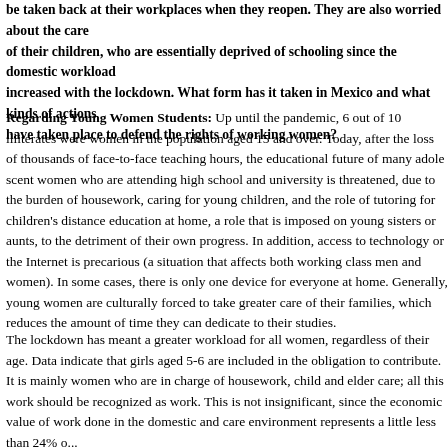be taken back at their workplaces when they reopen. They are also worried about the care of their children, who are essentially deprived of schooling since the domestic workload increased with the lockdown. What form has it taken in Mexico and what kinds of actions have taken place to defend the rights of working women?
Regarding Young Women Students: Up until the pandemic, 6 out of 10 illiterates were women in the population aged 15 and over. Today, after the loss of thousands of face-to-face teaching hours, the educational future of many adolescent women who are attending high school and university is threatened, due to the burden of housework, caring for young children, and the role of tutoring for children's distance education at home, a role that is imposed on young sisters or aunts, to the detriment of their own progress. In addition, access to technology or the Internet is precarious (a situation that affects both working class men and women). In some cases, there is only one device for everyone at home. Generally, young women are culturally forced to take greater care of their families, which reduces the amount of time they can dedicate to their studies.
The lockdown has meant a greater workload for all women, regardless of their age. Data indicate that girls aged 5-6 are included in the obligation to contribute. It is mainly women who are in charge of housework, child and elder care; all this work should be recognized as work. This is not insignificant, since the economic value of work done in the domestic and care environment represents a little less than 24% of...